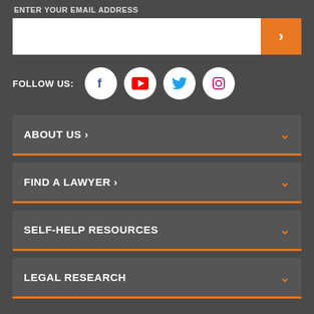ENTER YOUR EMAIL ADDRESS
[Figure (other): Email input field with orange submit button showing right arrow chevron]
FOLLOW US:
[Figure (other): Social media icons: Facebook, YouTube, Twitter, Instagram in white circles]
ABOUT US >
FIND A LAWYER >
SELF-HELP RESOURCES
LEGAL RESEARCH